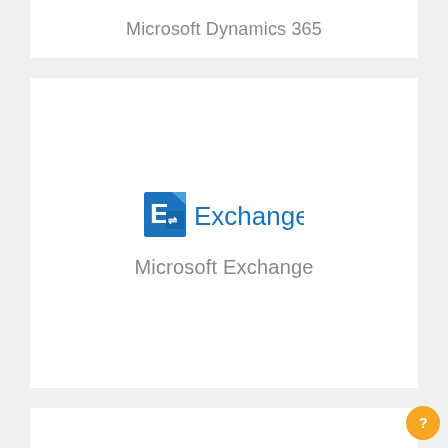Microsoft Dynamics 365
[Figure (logo): Microsoft Exchange logo with blue E icon and 'Exchange' text in blue]
Microsoft Exchange